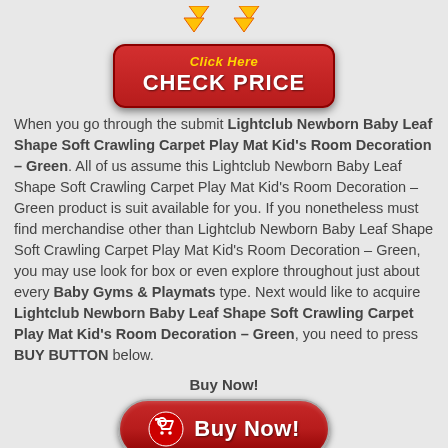[Figure (illustration): Red rounded rectangle button with yellow italic 'Click Here' text above and white bold 'CHECK PRICE' text, with two gold/orange downward arrows above the button]
When you go through the submit Lightclub Newborn Baby Leaf Shape Soft Crawling Carpet Play Mat Kid's Room Decoration – Green. All of us assume this Lightclub Newborn Baby Leaf Shape Soft Crawling Carpet Play Mat Kid's Room Decoration – Green product is suit available for you. If you nonetheless must find merchandise other than Lightclub Newborn Baby Leaf Shape Soft Crawling Carpet Play Mat Kid's Room Decoration – Green, you may use look for box or even explore throughout just about every Baby Gyms & Playmats type. Next would like to acquire Lightclub Newborn Baby Leaf Shape Soft Crawling Carpet Play Mat Kid's Room Decoration – Green, you need to press BUY BUTTON below.
Buy Now!
[Figure (illustration): Red pill-shaped Buy Now button with shopping cart icon on left and white bold 'Buy Now!' text]